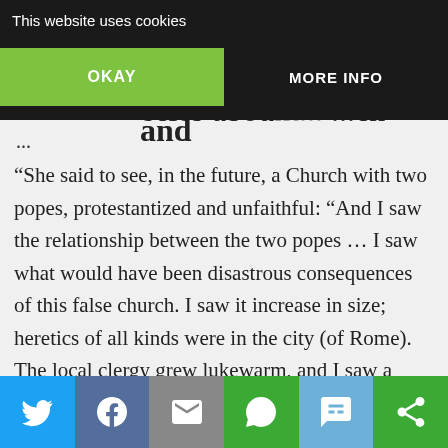This website uses cookies | OKAY | MORE INFO
blessed Anne Catherine Emmerich and
ecies abou... ...ch
...
“She said to see, in the future, a Church with two popes, protestantized and unfaithful: “And I saw the relationship between the two popes … I saw what would have been disastrous consequences of this false church. I saw it increase in size; heretics of all kinds were in the city (of Rome). The local clergy grew lukewarm, and I saw a great darkness “(13 May 1820); “I see the Holy Father in great distress. He lives in a different building
Twitter | Facebook | Email | WhatsApp | SMS | Share